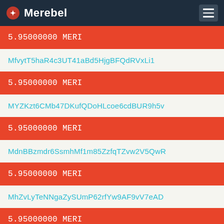Merebel
5.95000000 MERI
MfvytT5haR4c3UT41aBd5HjgBFQdRVxLi1
5.95000000 MERI
MYZKzt6CMb47DKufQDoHLcoe6cdBUR9h5v
5.95000000 MERI
MdnBBzmdr6SsmhMf1m85ZzfqTZvw2V5QwR
5.95000000 MERI
MhZvLyTeNNgaZySUmP62rfYw9AF9vV7eAD
5.95000000 MERI
MaPLYQJ3BBZtCCUULNG95skMXDRDkYxBbW
5.95000000 MERI